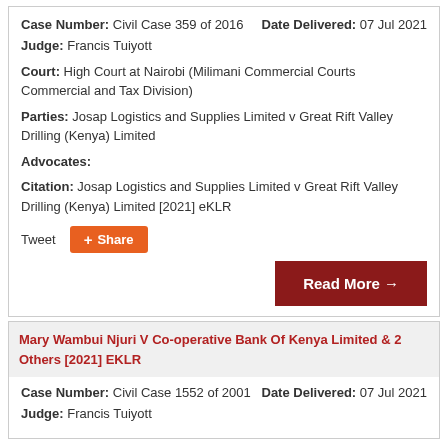Case Number: Civil Case 359 of 2016   Date Delivered: 07 Jul 2021
Judge: Francis Tuiyott
Court: High Court at Nairobi (Milimani Commercial Courts Commercial and Tax Division)
Parties: Josap Logistics and Supplies Limited v Great Rift Valley Drilling (Kenya) Limited
Advocates:
Citation: Josap Logistics and Supplies Limited v Great Rift Valley Drilling (Kenya) Limited [2021] eKLR
Tweet
Share
Read More →
Mary Wambui Njuri V Co-operative Bank Of Kenya Limited & 2 Others [2021] EKLR
Case Number: Civil Case 1552 of 2001   Date Delivered: 07 Jul 2021
Judge: Francis Tuiyott